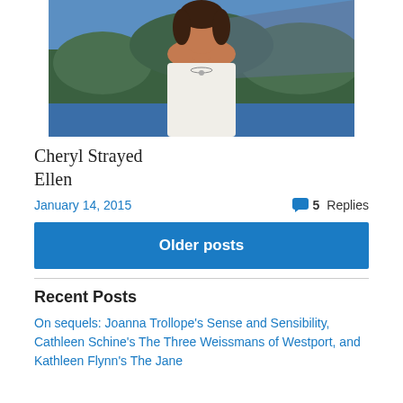[Figure (photo): A woman in a white sleeveless top wearing a necklace, photographed outdoors with blue water and forested hills in the background.]
Cheryl Strayed
Ellen
January 14, 2015   💬 5 Replies
Older posts
Recent Posts
On sequels: Joanna Trollope's Sense and Sensibility, Cathleen Schine's The Three Weissmans of Westport, and Kathleen Flynn's The Jane